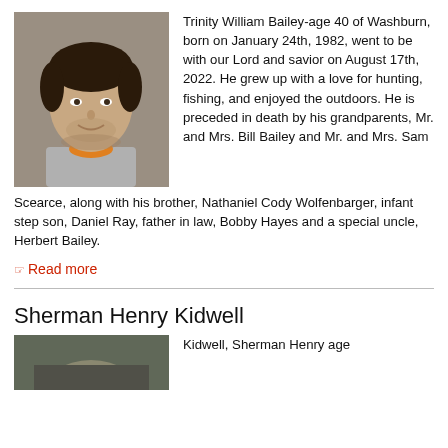[Figure (photo): Portrait photo of Trinity William Bailey, a young man with dark hair, smiling, wearing a gray and orange collar shirt]
Trinity William Bailey-age 40 of Washburn, born on January 24th, 1982, went to be with our Lord and savior on August 17th, 2022. He grew up with a love for hunting, fishing, and enjoyed the outdoors. He is preceded in death by his grandparents, Mr. and Mrs. Bill Bailey and Mr. and Mrs. Sam Scearce, along with his brother, Nathaniel Cody Wolfenbarger, infant step son, Daniel Ray, father in law, Bobby Hayes and a special uncle, Herbert Bailey.
Read more
Sherman Henry Kidwell
[Figure (photo): Partial photo of Sherman Henry Kidwell at bottom of page]
Kidwell, Sherman Henry age